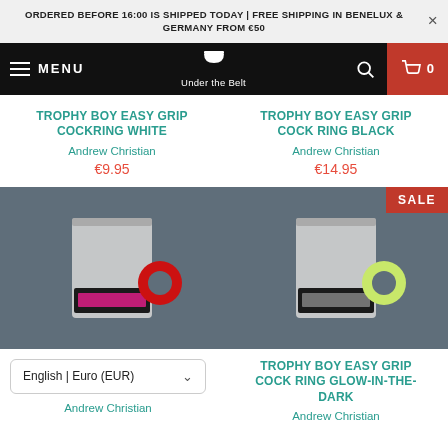ORDERED BEFORE 16:00 IS SHIPPED TODAY | FREE SHIPPING IN BENELUX & GERMANY FROM €50
[Figure (screenshot): Navigation bar with MENU label, 'Under the Belt' logo, search icon, and cart icon showing 0]
TROPHY BOY EASY GRIP COCKRING WHITE
Andrew Christian
€9.95
TROPHY BOY EASY GRIP COCK RING BLACK
Andrew Christian
€14.95
[Figure (photo): Product photo of Trophy Boy Easy Grip Cockring White on grey background, showing a red ring beside a black package]
[Figure (photo): Product photo of Trophy Boy Easy Grip Cock Ring Glow-in-the-Dark on grey background with SALE badge, showing a glow green ring beside a black package]
English | Euro (EUR)
Andrew Christian
TROPHY BOY EASY GRIP COCK RING GLOW-IN-THE-DARK
Andrew Christian